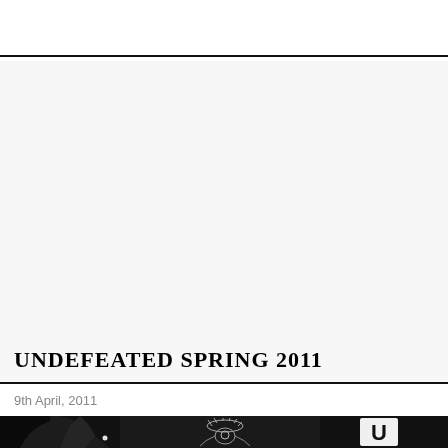UNDEFEATED SPRING 2011
9th April, 2011
[Figure (photo): Bottom strip showing a dark/black jacket or garment with decorative graphic elements including what appears to be a bird/eagle motif and a letter 'U' patch, photographed against black background]